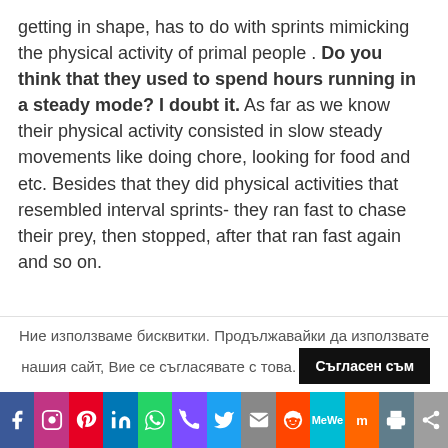getting in shape, has to do with sprints mimicking the physical activity of primal people . Do you think that they used to spend hours running in a steady mode? I doubt it. As far as we know their physical activity consisted in slow steady movements like doing chore, looking for food and etc. Besides that they did physical activities that resembled interval sprints- they ran fast to chase their prey, then stopped, after that ran fast again and so on.
They didn't do it trying to lose weight and get in shape but this is the information that got
Ние използваме бисквитки. Продължавайки да използвате нашия сайт, Вие се съгласявате с това. Съгласен съм
[Figure (infographic): Social media share bar with icons: Facebook, Instagram, Pinterest, LinkedIn, WhatsApp, Phone, Twitter, Email, Reddit, MeWe, Mix, Print, Share]